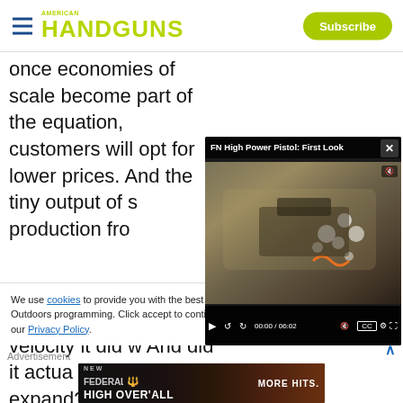HANDGUNS
once economies of scale become part of the equation, customers will opt for lower prices. And the tiny output of s... production fro...
[Figure (screenshot): Embedded video player showing 'FN High Power Pistol: First Look' — a close-up video of a tan/FDE pistol being handled. Video controls show 00:00 / 06:02.]
Back then, we w... velocity it did w... And did it actua... bullets actually expand? No one knew because by the
We use cookies to provide you with the best experience in Outdoors programming. Click accept to continue or read about our Privacy Policy.
Advertisement
[Figure (photo): Federal High Over'All ammunition advertisement banner — 'NEW FEDERAL HIGH OVER ALL MORE HITS.']